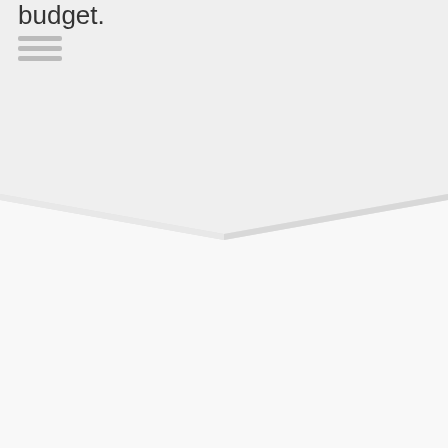budget.
[Figure (illustration): Decorative chevron/arrow divider pointing downward, separating two page sections. Light gray on gray background.]
EXPAND YOUR CLIENT POOL
Barely one-third of all households in the U.S. have enough assets to meet even a $100k asset minimum. In this context, retainer fees can reach a